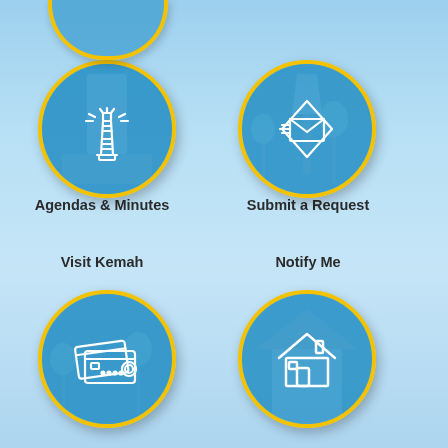[Figure (infographic): Four circular icon buttons on a light blue gradient background. Top-left circle has a lighthouse icon labeled 'Agendas & Minutes'. Top-right circle has an envelope/mail icon labeled 'Submit a Request'. Bottom-left circle has a credit card icon labeled 'Visit Kemah'. Bottom-right circle has a house icon. Two bottom circles are partially cut off. A partial circle is visible at the very top.]
Agendas & Minutes
Submit a Request
Visit Kemah
Notify Me